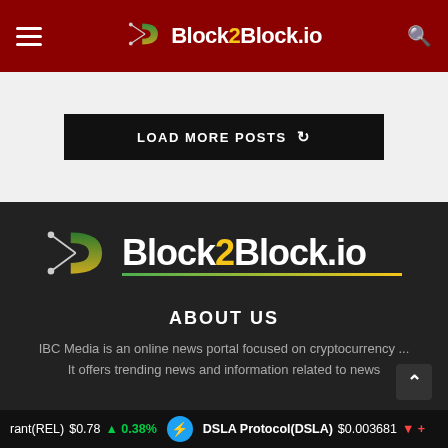Block2Block.io — navigation header with hamburger menu, logo, and search icon
LOAD MORE POSTS
[Figure (logo): Block2Block.io logo — stylized B icon with green/yellow gradient and white text on dark background]
ABOUT US
IBC Media is an online news portal focused on cryptocurrency ... It offers trending news and information related to news
rant(REL) $0.78 ↑ 0.38% | DSLA Protocol(DSLA) $0.003681 ↓